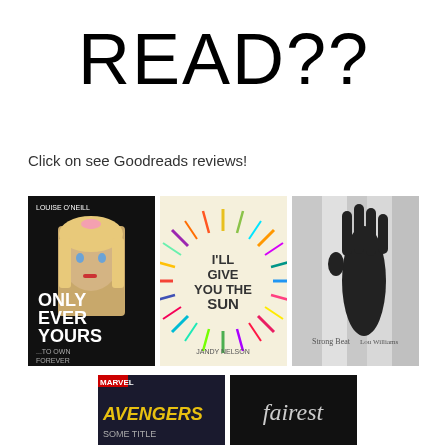READ??
Click on see Goodreads reviews!
[Figure (illustration): Three book covers in a row: 'Only Ever Yours' by Louise O'Neill (dark cover with blonde doll face), 'I'll Give You the Sun' by Jandy Nelson (colorful starburst cover), and a third book showing a dark silhouette of a raised hand against curtains with text 'Strong Beat' and author name]
[Figure (illustration): Two partially visible book covers: an Avengers Marvel comic/book and what appears to be 'Fairest' with dark background and script font]